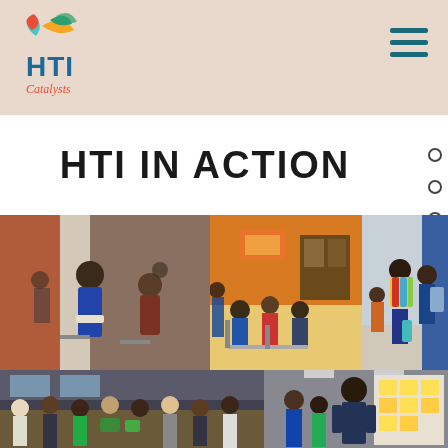[Figure (logo): HTI Catalysts logo with colorful wing/leaf shapes above blue HTI text and cursive Catalysts text]
HTI IN ACTION
[Figure (photo): Group of people in a classroom/workshop setting, woman in blue jacket holding papers in foreground]
[Figure (photo): People seated at desks in a room with orange walls, appears to be a meeting or training session]
[Figure (photo): Children with colorful backpacks standing in a school hallway]
[Figure (photo): Large group of diverse people seated around tables in a workshop/meeting setting]
[Figure (photo): Man standing near a wall with sticky notes, with youth participants nearby]